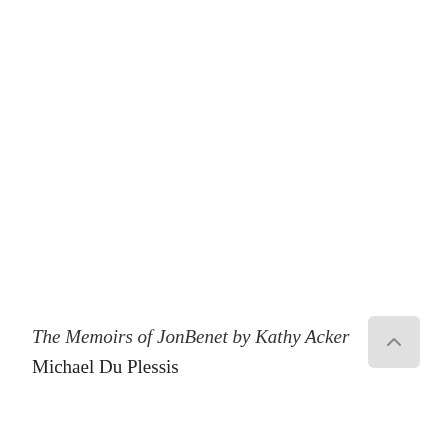The Memoirs of JonBenet by Kathy Acker
Michael Du Plessis